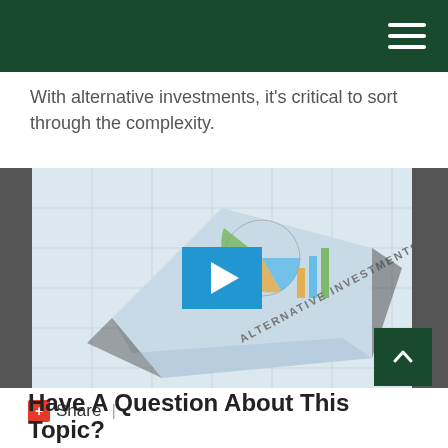With alternative investments, it's critical to sort through the complexity.
[Figure (screenshot): Video thumbnail showing a 3D paper fold with charts and a person, labeled 'ALTERNATIVE INVESTMENTS', with a blue play button overlay. Dark gray side bars flank the video.]
✙Share  |
Have A Question About This Topic?